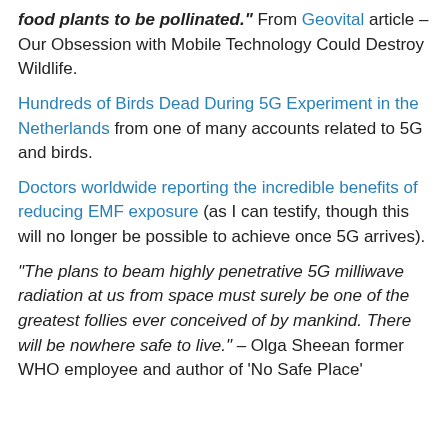food plants to be pollinated." From Geovital article – Our Obsession with Mobile Technology Could Destroy Wildlife.
Hundreds of Birds Dead During 5G Experiment in the Netherlands from one of many accounts related to 5G and birds.
Doctors worldwide reporting the incredible benefits of reducing EMF exposure (as I can testify, though this will no longer be possible to achieve once 5G arrives).
“The plans to beam highly penetrative 5G milliwave radiation at us from space must surely be one of the greatest follies ever conceived of by mankind. There will be nowhere safe to live.” – Olga Sheean former WHO employee and author of ‘No Safe Place’